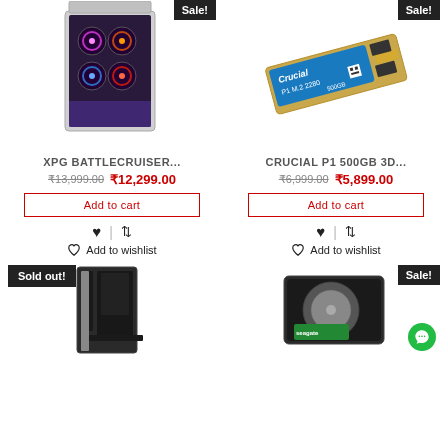[Figure (photo): XPG Battlecruiser PC case with RGB fans, glass side panel, white frame]
Sale!
XPG BATTLECRUISER...
₹13,999.00  ₹12,299.00
Add to cart
Add to wishlist
[Figure (photo): Crucial P1 500GB M.2 2280 SSD drive]
Sale!
CRUCIAL P1 500GB 3D...
₹6,999.00  ₹5,899.00
Add to cart
Add to wishlist
[Figure (photo): Dark PC tower case]
Sold out!
[Figure (photo): Seagate hard drive with green label]